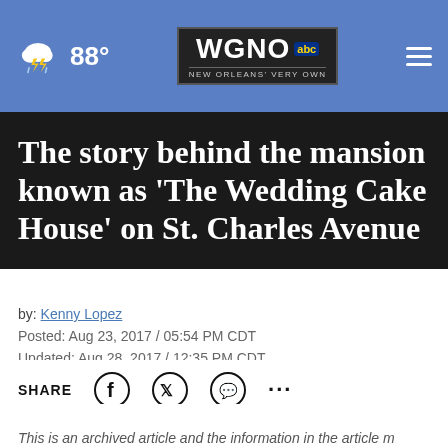WGNO ABC New Orleans' Very Own | 88°
The story behind the mansion known as 'The Wedding Cake House' on St. Charles Avenue
by: Kenny Lopez
Posted: Aug 23, 2017 / 05:54 PM CDT
Updated: Aug 28, 2017 / 12:35 PM CDT
SHARE
This is an archived article and the information in the article may be outdated. Please look at the time stamp on the story to see when it was last updated.
[Figure (infographic): AARP advertisement banner with green background, mascot, and retirement tips call to action]
NEW ORLEANS — St. Charles Avenue is known for